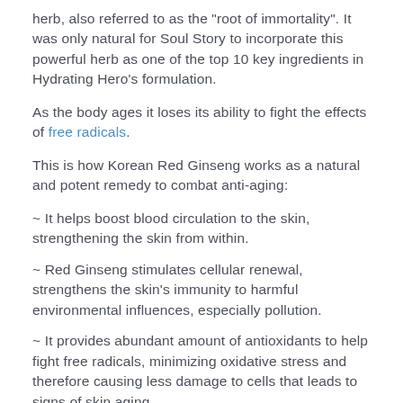herb, also referred to as the "root of immortality". It was only natural for Soul Story to incorporate this powerful herb as one of the top 10 key ingredients in Hydrating Hero's formulation.
As the body ages it loses its ability to fight the effects of free radicals.
This is how Korean Red Ginseng works as a natural and potent remedy to combat anti-aging:
~ It helps boost blood circulation to the skin, strengthening the skin from within.
~ Red Ginseng stimulates cellular renewal, strengthens the skin's immunity to harmful environmental influences, especially pollution.
~ It provides abundant amount of antioxidants to help fight free radicals, minimizing oxidative stress and therefore causing less damage to cells that leads to signs of skin aging.